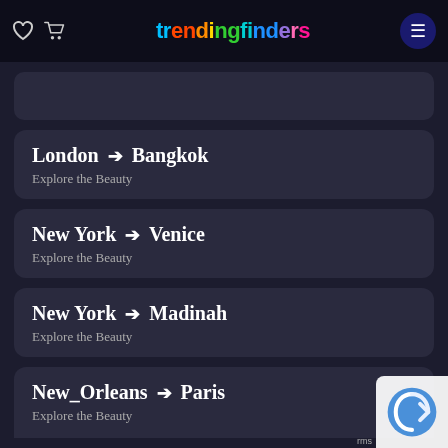trendingfinders — navigation header with heart icon, cart icon, logo, and menu button
London → Bangkok — Explore the Beauty
New York → Venice — Explore the Beauty
New York → Madinah — Explore the Beauty
New_Orleans → Paris — Explore the Beauty